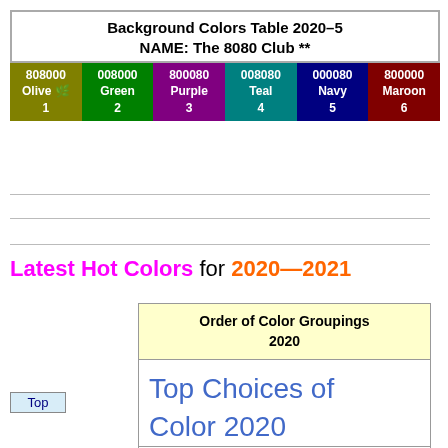| 808000 Olive 🌿 1 | 008000 Green 2 | 800080 Purple 3 | 008080 Teal 4 | 000080 Navy 5 | 800000 Maroon 6 |
| --- | --- | --- | --- | --- | --- |
Latest Hot Colors for 2020—2021
| Order of Color Groupings 2020 |
| --- |
| Top Choices of Color 2020 |
Top